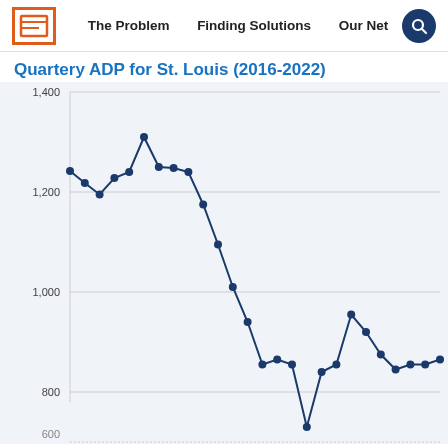The Problem | Finding Solutions | Our Network
Quartery ADP for St. Louis (2016-2022)
[Figure (line-chart): Quartery ADP for St. Louis (2016-2022)]